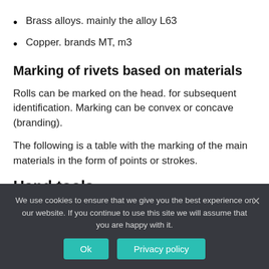Brass alloys. mainly the alloy L63
Copper. brands MT, m3
Marking of rivets based on materials
Rolls can be marked on the head. for subsequent identification. Marking can be convex or concave (branding).
The following is a table with the marking of the main materials in the form of points or strokes.
Hand tools
We use cookies to ensure that we give you the best experience on our website. If you continue to use this site we will assume that you are happy with it.